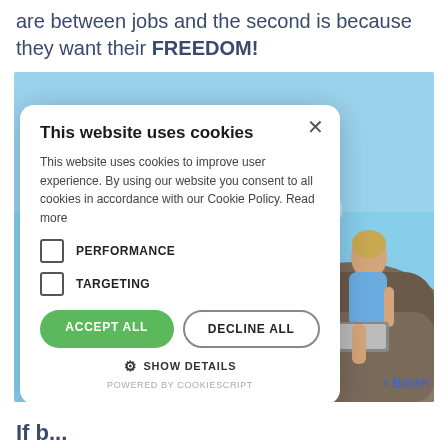are between jobs and the second is because they want their FREEDOM!
[Figure (screenshot): Cookie consent modal dialog overlaid on a webpage showing a woman sitting on a rock using a laptop. The modal has title 'This website uses cookies', body text, PERFORMANCE and TARGETING checkboxes, ACCEPT ALL and DECLINE ALL buttons, SHOW DETAILS link, and POWERED BY COOKIESCRIPT footer.]
If b...